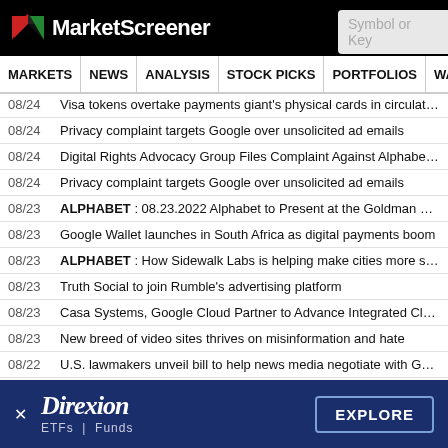MarketScreener
08/24   Visa tokens overtake payments giant's physical cards in circulation
08/24   Privacy complaint targets Google over unsolicited ad emails
08/24   Digital Rights Advocacy Group Files Complaint Against Alphabet's Google
08/24   Privacy complaint targets Google over unsolicited ad emails
08/23   ALPHABET : 08.23.2022 Alphabet to Present at the Goldman Sachs 202…
08/23   Google Wallet launches in South Africa as digital payments boom
08/23   ALPHABET : How Sidewalk Labs is helping make cities more sustainable
08/23   Truth Social to join Rumble's advertising platform
08/23   Casa Systems, Google Cloud Partner to Advance Integrated Cloud Native…
08/23   New breed of video sites thrives on misinformation and hate
08/22   U.S. lawmakers unveil bill to help news media negotiate with Google, Fac…
08/22   Kenya's Odinga to challenge poll result in court
[Figure (other): Direxion ETFs | Funds advertisement banner with EXPLORE button]